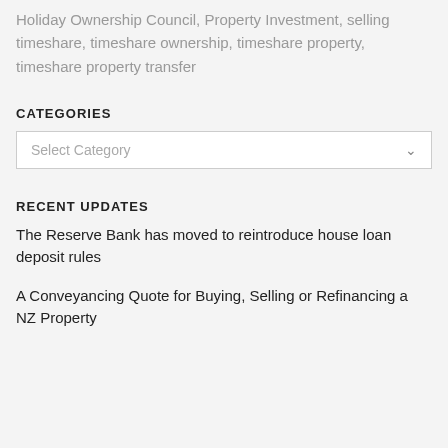Holiday Ownership Council, Property Investment, selling timeshare, timeshare ownership, timeshare property, timeshare property transfer
CATEGORIES
Select Category
RECENT UPDATES
The Reserve Bank has moved to reintroduce house loan deposit rules
A Conveyancing Quote for Buying, Selling or Refinancing a NZ Property